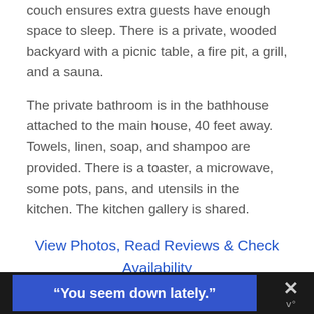couch ensures extra guests have enough space to sleep. There is a private, wooded backyard with a picnic table, a fire pit, a grill, and a sauna.
The private bathroom is in the bathhouse attached to the main house, 40 feet away. Towels, linen, soap, and shampoo are provided. There is a toaster, a microwave, some pots, pans, and utensils in the kitchen. The kitchen gallery is shared.
View Photos, Read Reviews & Check Availability
[Figure (other): Advertisement banner with dark background. Blue rectangle containing bold white text: "You seem down lately." with an X close button and icon on the right.]